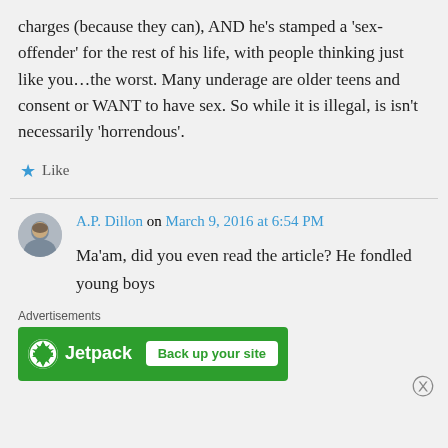charges (because they can), AND he's stamped a 'sex-offender' for the rest of his life, with people thinking just like you…the worst. Many underage are older teens and consent or WANT to have sex. So while it is illegal, is isn't necessarily 'horrendous'.
★ Like
A.P. Dillon on March 9, 2016 at 6:54 PM
Ma'am, did you even read the article? He fondled young boys
Advertisements
[Figure (other): Jetpack advertisement banner with green background, Jetpack logo and 'Back up your site' button]